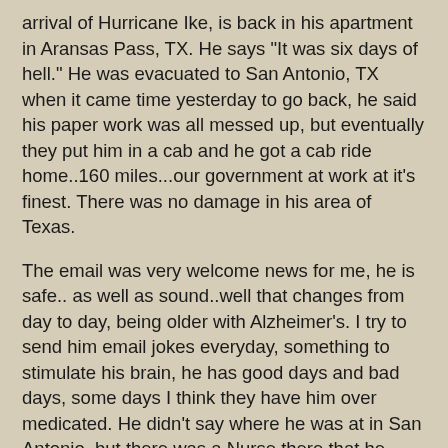arrival of Hurricane Ike, is back in his apartment in Aransas Pass, TX. He says "It was six days of hell." He was evacuated to San Antonio, TX when it came time yesterday to go back, he said his paper work was all messed up, but eventually they put him in a cab and he got a cab ride home..160 miles...our government at work at it's finest. There was no damage in his area of Texas.
The email was very welcome news for me, he is safe.. as well as sound..well that changes from day to day, being older with Alzheimer's. I try to send him email jokes everyday, something to stimulate his brain, he has good days and bad days, some days I think they have him over medicated. He didn't say where he was at in San Antonio, but there was a Nurse there that he argued with, so maybe a Hospital or a Nursing home or a evacuation center with health care workers. Anyway he is safe, and is busy reading six days of jokes!
I have a "core group" of about ten people that I receive jokes from and send jokes to, and some on the fringes that like jokes only occasionally. If it weren't for these people keeping